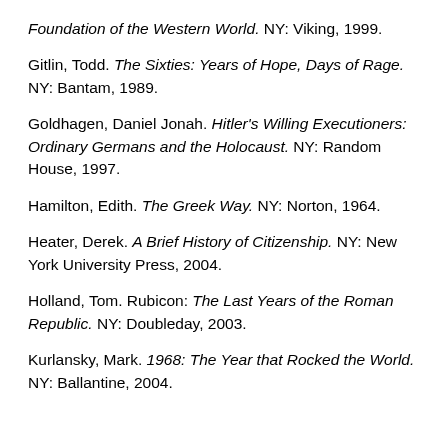Foundation of the Western World. NY: Viking, 1999.
Gitlin, Todd. The Sixties: Years of Hope, Days of Rage. NY: Bantam, 1989.
Goldhagen, Daniel Jonah. Hitler's Willing Executioners: Ordinary Germans and the Holocaust. NY: Random House, 1997.
Hamilton, Edith. The Greek Way. NY: Norton, 1964.
Heater, Derek. A Brief History of Citizenship. NY: New York University Press, 2004.
Holland, Tom. Rubicon: The Last Years of the Roman Republic. NY: Doubleday, 2003.
Kurlansky, Mark. 1968: The Year that Rocked the World. NY: Ballantine, 2004.